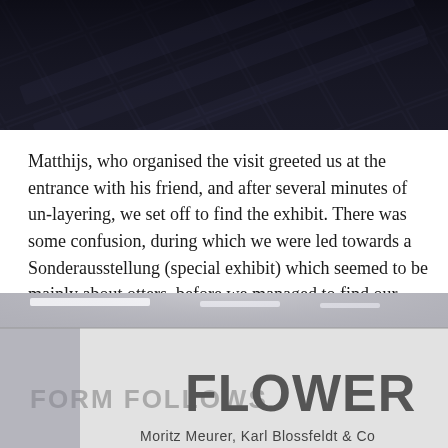[Figure (photo): Dark overhead view of a tiled or patterned floor in dim lighting]
Matthijs, who organised the visit greeted us at the entrance with his friend, and after several minutes of un-layering, we set off to find the exhibit. There was some confusion, during which we were led towards a Sonderausstellung (special exhibit) which seemed to be mainly about otters, before we managed to find our flowers.
[Figure (photo): Interior museum or gallery entrance with fluorescent ceiling lights, a large white wall displaying text 'FORM FOLLOWS FLOWER' and 'Moritz Meurer, Karl Blossfeldt & Co']